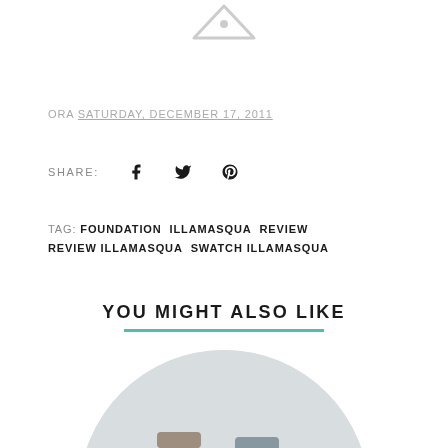[Figure (illustration): Small grey triangular icon at top center of page]
ORA SATURDAY, DECEMBER 17, 2011
SHARE:
[Figure (illustration): Social share icons: Facebook, Twitter, Pinterest]
TAG: FOUNDATION  ILLAMASQUA  REVIEW  REVIEW ILLAMASQUA  SWATCH ILLAMASQUA
YOU MIGHT ALSO LIKE
[Figure (photo): Circular cropped photo showing Illamasqua foundation bottles/products]